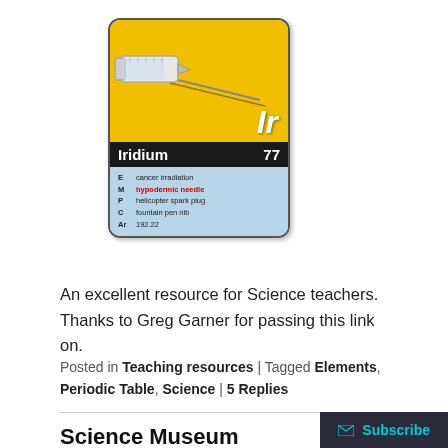[Figure (illustration): Iridium element card with yellow top showing a syringe illustration and 'Ir' symbol, black middle band showing 'Iridium 77', and light blue bottom with properties: E cancer irradiation, M hypodermic needle (in red), P helicopter spark plug, C fountain pen nib, Ar 192.22]
An excellent resource for Science teachers. Thanks to Greg Garner for passing this link on.
Posted in Teaching resources | Tagged Elements, Periodic Table, Science | 5 Replies
Science Museum